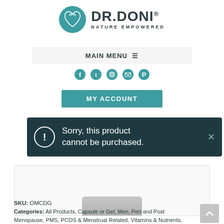[Figure (logo): Dr. Doni Nature Empowered logo — teal circular icon with heart and spiral design, next to bold 'DR.DONI®' text with 'NATURE EMPOWERED' subtitle]
MAIN MENU ☰
[Figure (infographic): Five teal circular social media icons in a row (Facebook, Twitter, Instagram, Email, Pinterest)]
MY ACCOUNT
Sorry, this product cannot be purchased.
[Figure (photo): Partial product image — grey lid/cap of a supplement bottle]
SKU: OMCDG
Categories: All Products, Capsule or Gel, Men, Peri and Post Menopause, PMS, PCOS & Menstrual Related, Vitamins & Nutrients, Women's Health Brand: Ortho Molecular Products